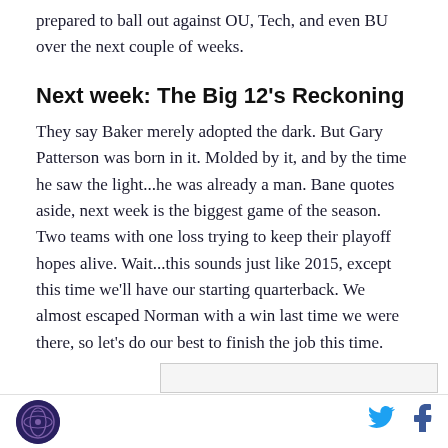prepared to ball out against OU, Tech, and even BU over the next couple of weeks.
Next week: The Big 12's Reckoning
They say Baker merely adopted the dark. But Gary Patterson was born in it. Molded by it, and by the time he saw the light...he was already a man. Bane quotes aside, next week is the biggest game of the season. Two teams with one loss trying to keep their playoff hopes alive. Wait...this sounds just like 2015, except this time we'll have our starting quarterback. We almost escaped Norman with a win last time we were there, so let's do our best to finish the job this time.
[Figure (other): Advertisement bar placeholder]
Logo icon | Twitter icon | Facebook icon